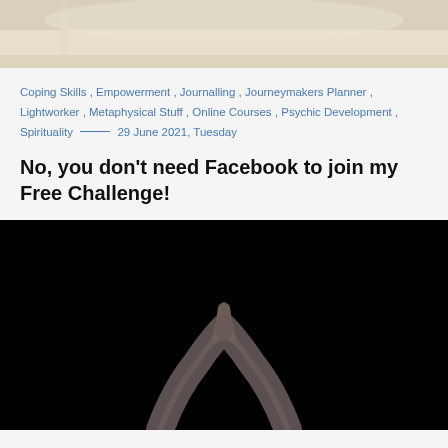[Figure (photo): Top cropped photo showing a white fluffy rug or cushion on a surface, light beige/cream tones]
Coping Skills , Empowerment , Journalling , Journeymakers Planner , Lightworker , Metaphysical Stuff , Online Courses , Psychic Development , Spirituality _____ 29 June 2021, Tuesday
No, you don't need Facebook to join my Free Challenge!
[Figure (photo): Black and white photograph on dark/black background showing two hands touching fingertips in a prayer or meditation gesture, arms outstretched upward]